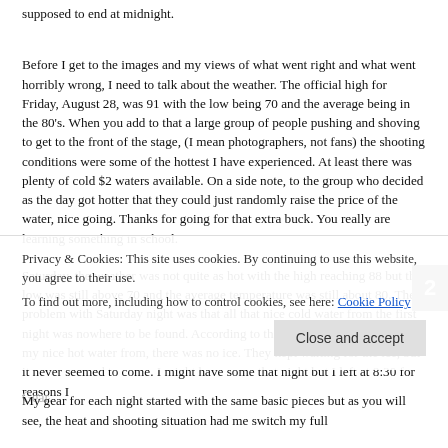supposed to end at midnight.
Before I get to the images and my views of what went right and what went horribly wrong, I need to talk about the weather. The official high for Friday, August 28, was 91 with the low being 70 and the average being in the 80's. When you add to that a large group of people pushing and shoving to get to the front of the stage, (I mean photographers, not fans) the shooting conditions were some of the hottest I have experienced. At least there was plenty of cold $2 waters available. On a side note, to the group who decided as the day got hotter that they could just randomly raise the price of the water, nice going. Thanks for going for that extra buck. You really are learning something in school.
Saturday, the weather was not quite as hot with the high reaching 88 but the low was still above 70 and the average temperature was still about 80. The problem with Saturday night was that all that nice cold water from the first night was nowhere to be found. According to the vendor who I purchased my nice hot water from, there was no ice. They kept waiting for the ice, but it never seemed to come. I might have some that night but I left at 8:30 for reasons I
Privacy & Cookies: This site uses cookies. By continuing to use this website, you agree to their use.
To find out more, including how to control cookies, see here: Cookie Policy
Gear.
My gear for each night started with the same basic pieces but as you will see, the heat and shooting situation had me switch my full